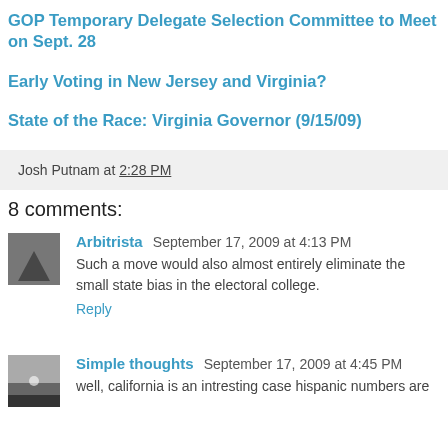GOP Temporary Delegate Selection Committee to Meet on Sept. 28
Early Voting in New Jersey and Virginia?
State of the Race: Virginia Governor (9/15/09)
Josh Putnam at 2:28 PM
8 comments:
Arbitrista September 17, 2009 at 4:13 PM
Such a move would also almost entirely eliminate the small state bias in the electoral college.
Reply
Simple thoughts September 17, 2009 at 4:45 PM
well, california is an intresting case hispanic numbers are